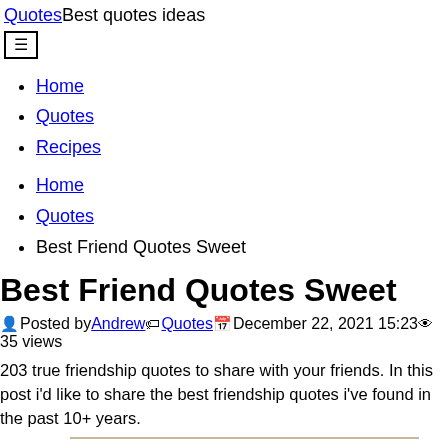QuotesBest quotes ideas
Home
Quotes
Recipes
Home
Quotes
Best Friend Quotes Sweet
Best Friend Quotes Sweet
Posted by Andrew Quotes December 22, 2021 15:23 35 views
203 true friendship quotes to share with your friends. In this post i'd like to share the best friendship quotes i've found in the past 10+ years.
Sweet short best friend quotes · life without friends is just like an empty desert.